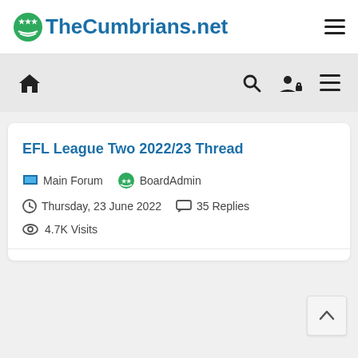TheCumbrians.net
[Figure (screenshot): Navigation toolbar with home icon, search icon, user/login icon, and hamburger menu icon]
EFL League Two 2022/23 Thread
Main Forum   BoardAdmin
Thursday, 23 June 2022   35 Replies
4.7K Visits